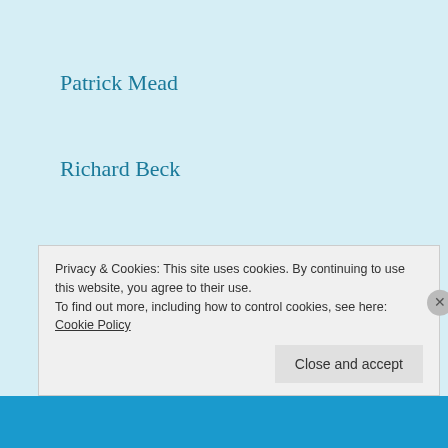Patrick Mead
Richard Beck
Royce Ogle
Terri "That Girl" Riley
Timothy Archer
Privacy & Cookies: This site uses cookies. By continuing to use this website, you agree to their use.
To find out more, including how to control cookies, see here: Cookie Policy
Close and accept